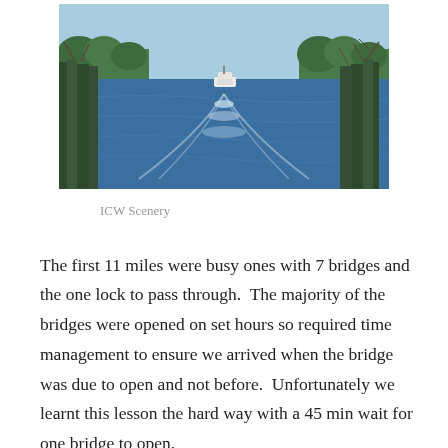[Figure (photo): A waterway (ICW - Intracoastal Waterway) scene showing a boat navigating a calm blue channel flanked by dense trees on both sides under a clear sky.]
ICW Scenery
The first 11 miles were busy ones with 7 bridges and the one lock to pass through.  The majority of the bridges were opened on set hours so required time management to ensure we arrived when the bridge was due to open and not before.  Unfortunately we learnt this lesson the hard way with a 45 min wait for one bridge to open.